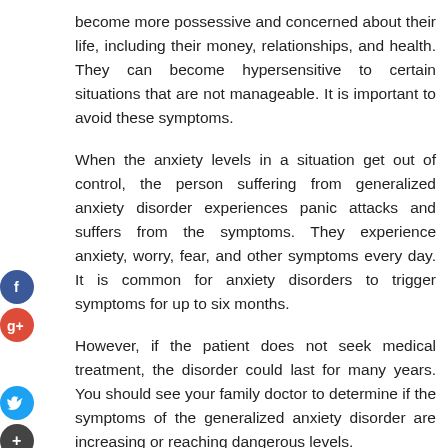become more possessive and concerned about their life, including their money, relationships, and health. They can become hypersensitive to certain situations that are not manageable. It is important to avoid these symptoms.
When the anxiety levels in a situation get out of control, the person suffering from generalized anxiety disorder experiences panic attacks and suffers from the symptoms. They experience anxiety, worry, fear, and other symptoms every day. It is common for anxiety disorders to trigger symptoms for up to six months.
However, if the patient does not seek medical treatment, the disorder could last for many years. You should see your family doctor to determine if the symptoms of the generalized anxiety disorder are increasing or reaching dangerous levels.